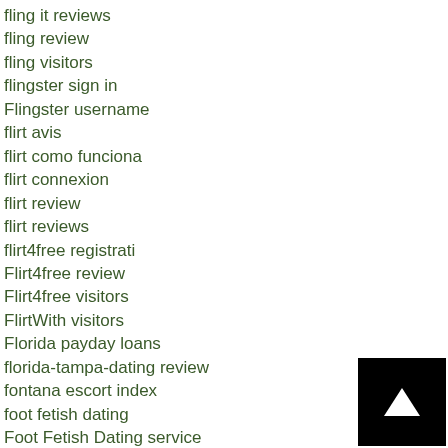fling it reviews
fling review
fling visitors
flingster sign in
Flingster username
flirt avis
flirt como funciona
flirt connexion
flirt review
flirt reviews
flirt4free registrati
Flirt4free review
Flirt4free visitors
FlirtWith visitors
Florida payday loans
florida-tampa-dating review
fontana escort index
foot fetish dating
Foot Fetish Dating service
[Figure (other): Black square button with white upward arrow (back to top button)]